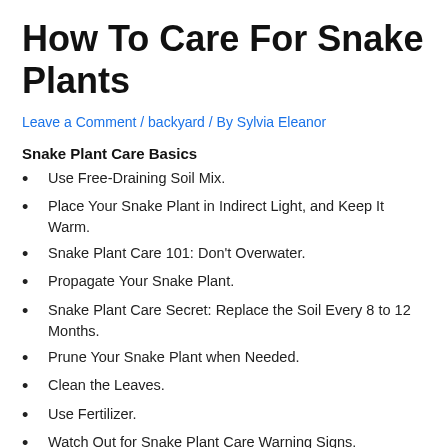How To Care For Snake Plants
Leave a Comment / backyard / By Sylvia Eleanor
Snake Plant Care Basics
Use Free-Draining Soil Mix.
Place Your Snake Plant in Indirect Light, and Keep It Warm.
Snake Plant Care 101: Don't Overwater.
Propagate Your Snake Plant.
Snake Plant Care Secret: Replace the Soil Every 8 to 12 Months.
Prune Your Snake Plant when Needed.
Clean the Leaves.
Use Fertilizer.
Watch Out for Snake Plant Care Warning Signs.
via